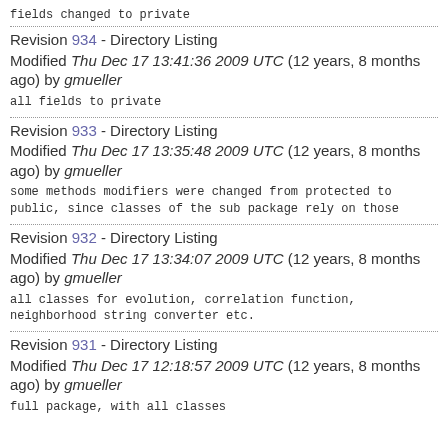fields changed to private
Revision 934 - Directory Listing
Modified Thu Dec 17 13:41:36 2009 UTC (12 years, 8 months ago) by gmueller
all fields to private
Revision 933 - Directory Listing
Modified Thu Dec 17 13:35:48 2009 UTC (12 years, 8 months ago) by gmueller
some methods modifiers were changed from protected to public, since classes of the sub package rely on those
Revision 932 - Directory Listing
Modified Thu Dec 17 13:34:07 2009 UTC (12 years, 8 months ago) by gmueller
all classes for evolution, correlation function, neighborhood string converter etc.
Revision 931 - Directory Listing
Modified Thu Dec 17 12:18:57 2009 UTC (12 years, 8 months ago) by gmueller
full package, with all classes